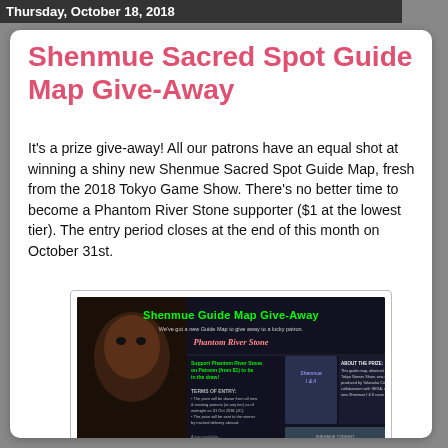Thursday, October 18, 2018
Shenmue Sacred Spot Guide Map Give-Away
It's a prize give-away! All our patrons have an equal shot at winning a shiny new Shenmue Sacred Spot Guide Map, fresh from the 2018 Tokyo Game Show. There's no better time to become a Phantom River Stone supporter ($1 at the lowest tier). The entry period closes at the end of this month on October 31st.
[Figure (illustration): Promotional banner for Shenmue Guide Map Give-Away featuring the text 'Shenmue Guide Map Give-Away', 'We've got a new Guide Map to give away to a lucky patron.', 'Phantom River Stone', support instructions, prize details, terms of entry, and Shenmue game artwork.]
Join us here: https://www.patreon.com/phantomriverstone